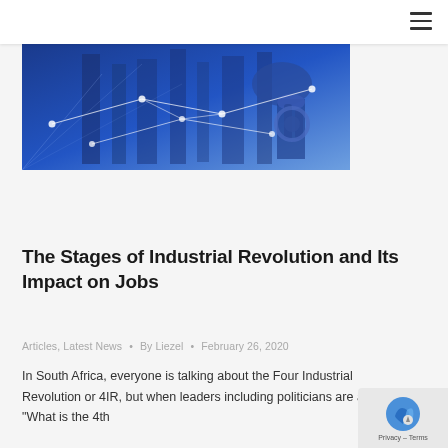[Figure (illustration): Blue-toned industrial/technology banner image showing robotic machinery and a network of white connecting lines with nodes, overlaid on a dark blue background with geometric architectural elements.]
The Stages of Industrial Revolution and Its Impact on Jobs
Articles, Latest News · By Liezel · February 26, 2020
In South Africa, everyone is talking about the Four Industrial Revolution or 4IR, but when leaders including politicians are asked "What is the 4th